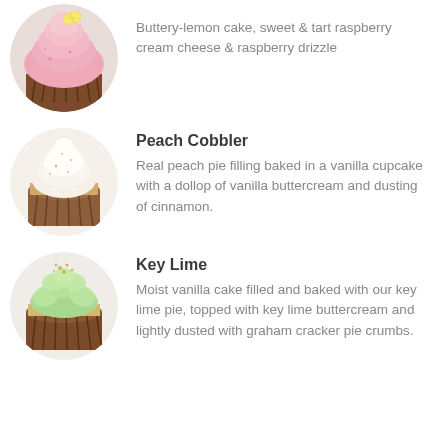[Figure (photo): Circular photo of a cupcake with pink frosting and a lemon slice garnish, in a brown paper liner]
Buttery-lemon cake, sweet & tart raspberry cream cheese & raspberry drizzle
[Figure (photo): Circular photo of a Peach Cobbler cupcake with white vanilla buttercream swirl and cinnamon dusting, in a brown paper liner]
Peach Cobbler
Real peach pie filling baked in a vanilla cupcake with a dollop of vanilla buttercream and dusting of cinnamon.
[Figure (photo): Circular photo of a Key Lime cupcake with green buttercream swirl and graham cracker crumbs, in a brown paper liner]
Key Lime
Moist vanilla cake filled and baked with our key lime pie, topped with key lime buttercream and lightly dusted with graham cracker pie crumbs.